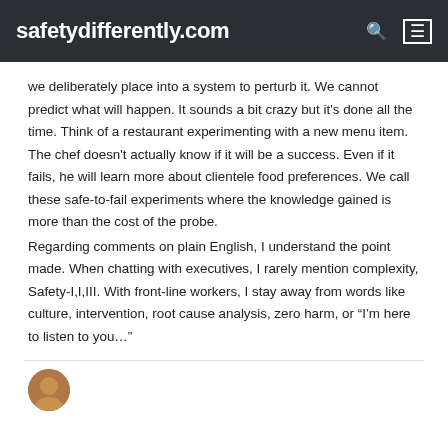safetydifferently.com
we deliberately place into a system to perturb it. We cannot predict what will happen. It sounds a bit crazy but it's done all the time. Think of a restaurant experimenting with a new menu item. The chef doesn't actually know if it will be a success. Even if it fails, he will learn more about clientele food preferences. We call these safe-to-fail experiments where the knowledge gained is more than the cost of the probe.
Regarding comments on plain English, I understand the point made. When chatting with executives, I rarely mention complexity, Safety-I,I,III. With front-line workers, I stay away from words like culture, intervention, root cause analysis, zero harm, or “I’m here to listen to you…”
[Figure (photo): Partial view of a person's avatar/profile photo at the bottom of the page]